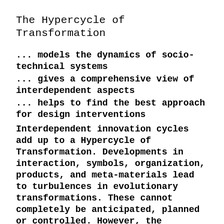The Hypercycle of Transformation
... models the dynamics of socio-technical systems
... gives a comprehensive view of interdependent aspects
... helps to find the best approach for design interventions
Interdependent innovation cycles add up to a Hypercycle of Transformation. Developments in interaction, symbols, organization, products, and meta-materials lead to turbulences in evolutionary transformations. These cannot completely be anticipated, planned or controlled. However, the hypercycle can help to find the best chance for interventions. The